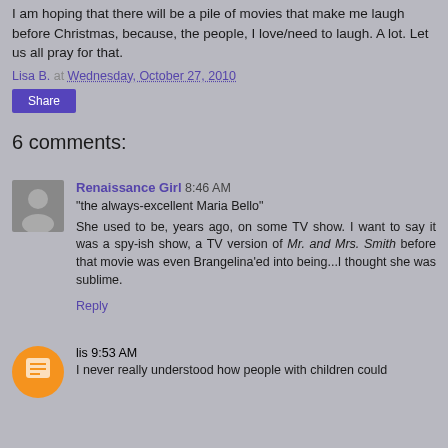I am hoping that there will be a pile of movies that make me laugh before Christmas, because, the people, I love/need to laugh. A lot. Let us all pray for that.
Lisa B. at Wednesday, October 27, 2010
Share
6 comments:
Renaissance Girl 8:46 AM
"the always-excellent Maria Bello"
She used to be, years ago, on some TV show. I want to say it was a spy-ish show, a TV version of Mr. and Mrs. Smith before that movie was even Brangelina'ed into being...I thought she was sublime.
Reply
lis 9:53 AM
I never really understood how people with children could